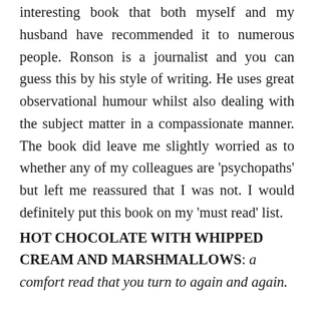interesting book that both myself and my husband have recommended it to numerous people. Ronson is a journalist and you can guess this by his style of writing. He uses great observational humour whilst also dealing with the subject matter in a compassionate manner. The book did leave me slightly worried as to whether any of my colleagues are 'psychopaths' but left me reassured that I was not. I would definitely put this book on my 'must read' list.
HOT CHOCOLATE WITH WHIPPED CREAM AND MARSHMALLOWS: a comfort read that you turn to again and again.